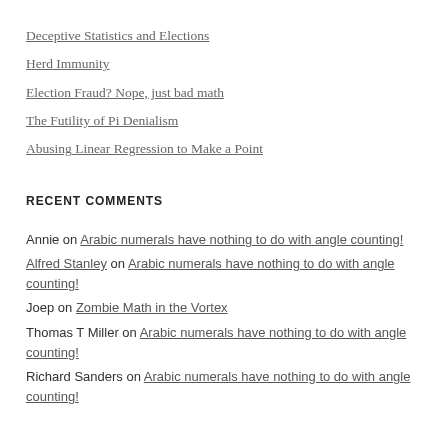Deceptive Statistics and Elections
Herd Immunity
Election Fraud? Nope, just bad math
The Futility of Pi Denialism
Abusing Linear Regression to Make a Point
RECENT COMMENTS
Annie on Arabic numerals have nothing to do with angle counting!
Alfred Stanley on Arabic numerals have nothing to do with angle counting!
Joep on Zombie Math in the Vortex
Thomas T Miller on Arabic numerals have nothing to do with angle counting!
Richard Sanders on Arabic numerals have nothing to do with angle counting!